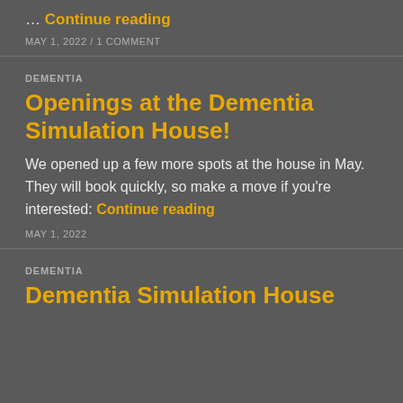… Continue reading
MAY 1, 2022 / 1 COMMENT
DEMENTIA
Openings at the Dementia Simulation House!
We opened up a few more spots at the house in May. They will book quickly, so make a move if you're interested: Continue reading
MAY 1, 2022
DEMENTIA
Dementia Simulation House